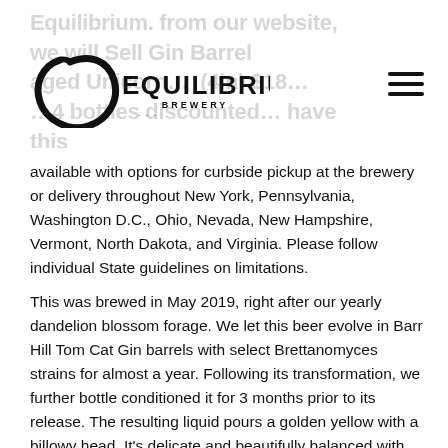Equilibrium Brewery logo and navigation header
available with options for curbside pickup at the brewery or delivery throughout New York, Pennsylvania, Washington D.C., Ohio, Nevada, New Hampshire, Vermont, North Dakota, and Virginia. Please follow individual State guidelines on limitations.
This was brewed in May 2019, right after our yearly dandelion blossom forage. We let this beer evolve in Barr Hill Tom Cat Gin barrels with select Brettanomyces strains for almost a year. Following its transformation, we further bottle conditioned it for 3 months prior to its release. The resulting liquid pours a golden yellow with a billowy head. It's delicate and beautifully balanced with layered flavors of Meyer lemon, pie spice, juniper berry and assorted botanicals, a beautiful barrel presence, and a purposeful touch of balanced acidity. This beer will continue to evolve over time if properly cellared.